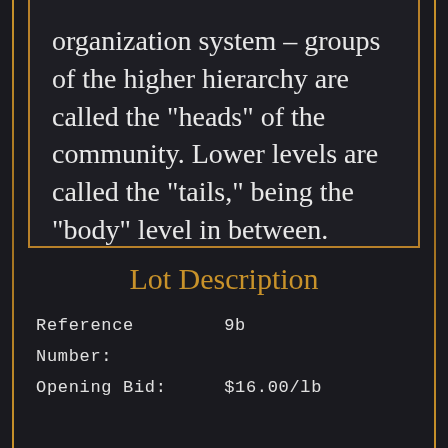Tahano's social organization system – groups of the higher hierarchy are called the "heads" of the community. Lower levels are called the "tails," being the "body" level in between.
Lot Description
| Reference Number: | 9b |
| Opening Bid: | $16.00/lb |